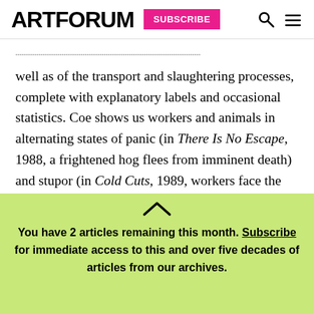ARTFORUM | SUBSCRIBE
well as of the transport and slaughtering processes, complete with explanatory labels and occasional statistics. Coe shows us workers and animals in alternating states of panic (in There Is No Escape, 1988, a frightened hog flees from imminent death) and stupor (in Cold Cuts, 1989, workers face the monotony of the assembly line.) Elsewhere, animals are shown suffering days and hours of immobile captivity. These emotions are played out against a
You have 2 articles remaining this month. Subscribe for immediate access to this and over five decades of articles from our archives.